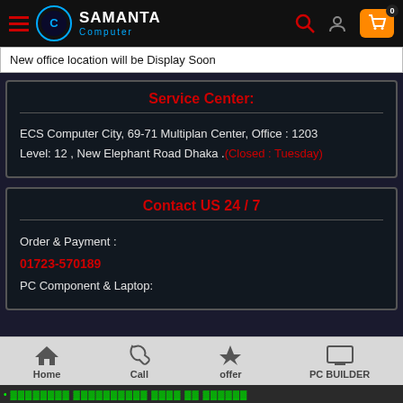[Figure (logo): Samanta Computer logo with hamburger menu, logo icon, search, profile, and cart icons in dark header]
New office location will be Display Soon
Service Center:
ECS Computer City, 69-71 Multiplan Center, Office : 1203 Level: 12 , New Elephant Road Dhaka .(Closed : Tuesday)
Contact US 24 / 7
Order & Payment :
01723-570189
PC Component & Laptop:
Home   Call   offer   PC BUILDER